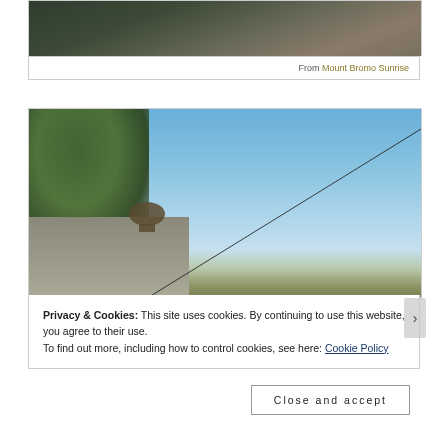[Figure (photo): Partial view of a dark outdoor scene with foliage and a railing, cropped at top]
From Mount Bromo Sunrise
[Figure (photo): Upward view of a building corner with a bronze animal statue, tree foliage upper left, blue sky background, diagonal wire/cable across the frame]
Privacy & Cookies: This site uses cookies. By continuing to use this website, you agree to their use.
To find out more, including how to control cookies, see here: Cookie Policy
Close and accept